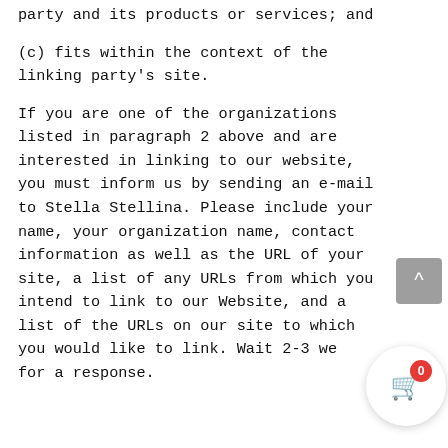party and its products or services; and
(c) fits within the context of the linking party's site.
If you are one of the organizations listed in paragraph 2 above and are interested in linking to our website, you must inform us by sending an e-mail to Stella Stellina. Please include your name, your organization name, contact information as well as the URL of your site, a list of any URLs from which you intend to link to our Website, and a list of the URLs on our site to which you would like to link. Wait 2-3 weeks for a response.